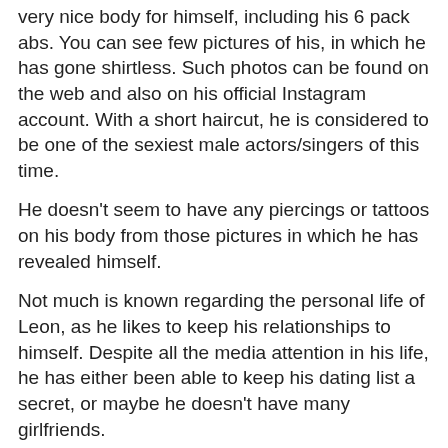very nice body for himself, including his 6 pack abs. You can see few pictures of his, in which he has gone shirtless. Such photos can be found on the web and also on his official Instagram account. With a short haircut, he is considered to be one of the sexiest male actors/singers of this time.
He doesn't seem to have any piercings or tattoos on his body from those pictures in which he has revealed himself.
Not much is known regarding the personal life of Leon, as he likes to keep his relationships to himself. Despite all the media attention in his life, he has either been able to keep his dating list a secret, or maybe he doesn't have many girlfriends.
Being a famous star, he does have many female friends and admirers and is often seen in public with one of them. But, there is not a substantial proof as to confirm whom he has been dating with.
It is confirmed that he doesn't have a wife till date; thus no questions regarding his married or divorced life can be raised.